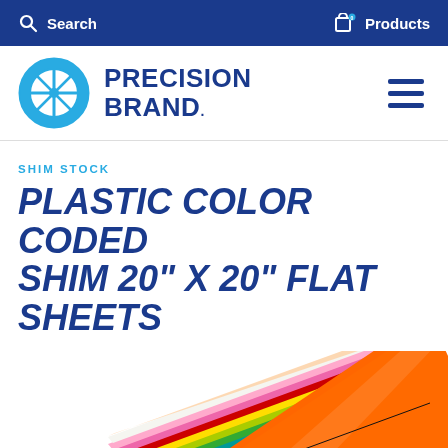Search   Products
[Figure (logo): Precision Brand logo with circular blue globe icon and bold text PRECISION BRAND.]
SHIM STOCK
PLASTIC COLOR CODED SHIM 20" X 20" FLAT SHEETS
[Figure (photo): Fanned stack of colorful plastic shim flat sheets showing multiple colors including orange, yellow, green, blue, pink, and black layers, viewed from an angle.]